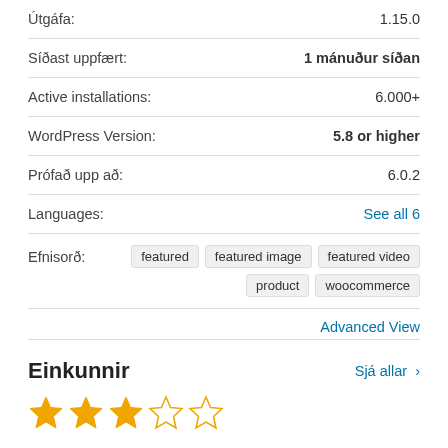Útgáfa: 1.15.0
Síðast uppfært: 1 mánuður síðan
Active installations: 6.000+
WordPress Version: 5.8 or higher
Prófað upp að: 6.0.2
Languages: See all 6
Efnisorð: featured featured image featured video product woocommerce
Advanced View
Einkunnir
Sjá allar >
[Figure (other): 3 filled gold stars and 2 empty stars rating]